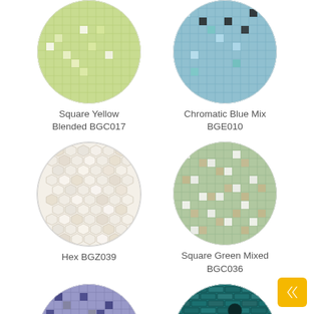[Figure (photo): Circular mosaic tile sample: Square Yellow Blended BGC017 - yellow-green small square mosaic tiles]
Square Yellow Blended BGC017
[Figure (photo): Circular mosaic tile sample: Chromatic Blue Mix BGE010 - blue and teal square mosaic tiles with some dark accent tiles]
Chromatic Blue Mix BGE010
[Figure (photo): Circular mosaic tile sample: Hex BGZ039 - white/cream hexagonal mosaic tiles]
Hex BGZ039
[Figure (photo): Circular mosaic tile sample: Square Green Mixed BGC036 - green and white mixed square mosaic tiles]
Square Green Mixed BGC036
[Figure (photo): Circular mosaic tile sample - purple/blue square mosaic tiles (partially visible, bottom of page)]
[Figure (photo): Circular mosaic tile sample - teal/dark blue elongated mosaic tiles (partially visible, bottom of page)]